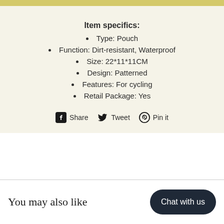Item specifics:
Type: Pouch
Function: Dirt-resistant, Waterproof
Size: 22*11*11CM
Design: Patterned
Features: For cycling
Retail Package: Yes
[Figure (infographic): Social sharing buttons: Facebook Share, Twitter Tweet, Pinterest Pin it]
You may also like
Chat with us